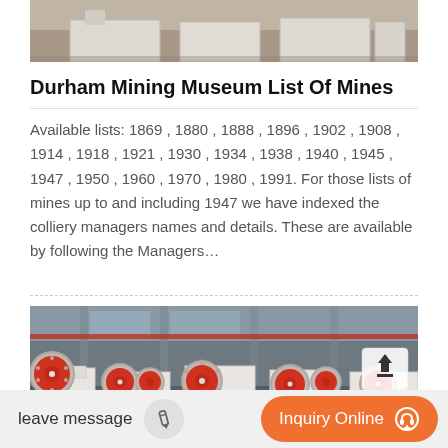[Figure (photo): Partial view of mining/crushing machinery, white equipment pieces on industrial floor]
Durham Mining Museum List Of Mines
Available lists: 1869 , 1880 , 1888 , 1896 , 1902 , 1908 , 1914 , 1918 , 1921 , 1930 , 1934 , 1938 , 1940 , 1945 , 1947 , 1950 , 1960 , 1970 , 1980 , 1991. For those lists of mines up to and including 1947 we have indexed the colliery managers names and details. These are available by following the Managers…
[Figure (photo): Industrial factory interior with large jaw crusher machines featuring prominent red and black flywheels, white machinery bodies, in a warehouse setting]
leave message
Inquiry Online